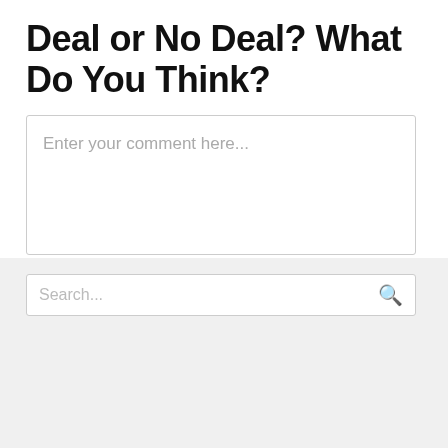Deal or No Deal? What Do You Think?
Enter your comment here...
Search...
[Figure (screenshot): Infolinks advertisement banner for Lands' End featuring sandals, text 'Next step: comfy — Treat your feet with these footwear faves.' and a 'SHOP NOW' button]